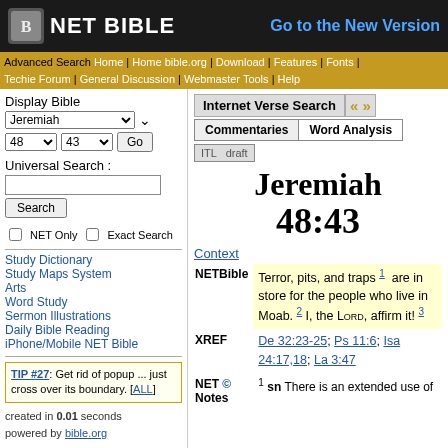NET BIBLE — Go to the New Version
Advanced Search | Home | Home bible.org | Download | Features | Fonts | Techie Forum | General Discussion | Webmaster Tools | Help
Display Bible
Jeremiah 48 43 Go
Universal Search :
Search | NET Only | Exact Search
Study Dictionary
Study Maps System
Arts
Word Study
Sermon Illustrations
Daily Bible Reading
iPhone/Mobile NET Bible
TIP #27: Get rid of popup ... just cross over its boundary. [ALL]
created in 0.01 seconds
powered by bible.org
Internet Verse Search
Commentaries | Word Analysis
ITL | draft
Jeremiah
48:43
Context
NETBible — Terror, pits, and traps 1 are in store for the people who live in Moab. 2 I, the LORD, affirm it! 3
XREF — De 32:23-25; Ps 11:6; Isa 24:17,18; La 3:47
NET © Notes — 1 sn There is an extended use of